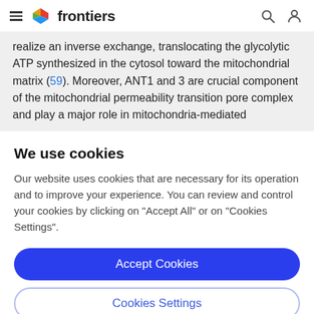frontiers
realize an inverse exchange, translocating the glycolytic ATP synthesized in the cytosol toward the mitochondrial matrix (59). Moreover, ANT1 and 3 are crucial component of the mitochondrial permeability transition pore complex and play a major role in mitochondria-mediated
We use cookies
Our website uses cookies that are necessary for its operation and to improve your experience. You can review and control your cookies by clicking on "Accept All" or on "Cookies Settings".
Accept Cookies
Cookies Settings